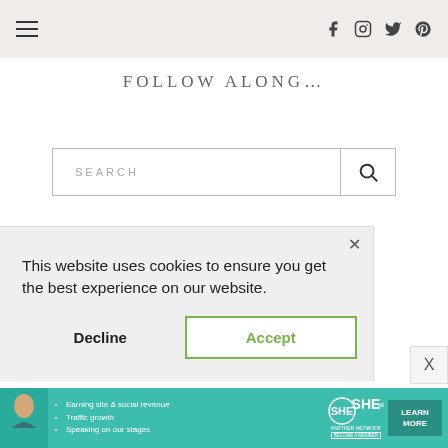Navigation header with hamburger menu and social icons (Facebook, Instagram, Twitter, Pinterest)
FOLLOW ALONG...
SEARCH
This website uses cookies to ensure you get the best experience on our website.
Decline
Accept
[Figure (screenshot): SHE Partner Network advertisement banner with woman photo, bullet points about earning site & social revenue, traffic growth, speaking on our stages, and a Learn More button]
• Earning site & social revenue
• Traffic growth
• Speaking on our stages